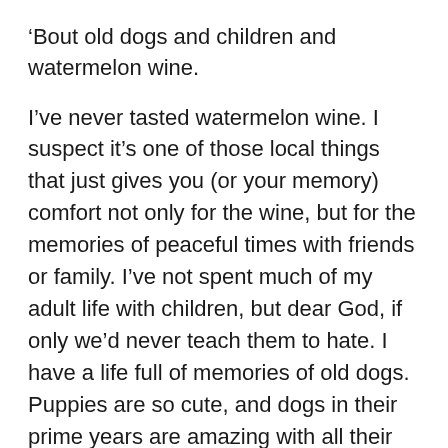‘Bout old dogs and children and watermelon wine.
I’ve never tasted watermelon wine. I suspect it’s one of those local things that just gives you (or your memory) comfort not only for the wine, but for the memories of peaceful times with friends or family. I’ve not spent much of my adult life with children, but dear God, if only we’d never teach them to hate. I have a life full of memories of old dogs. Puppies are so cute, and dogs in their prime years are amazing with all their enthusiasm and athleticism, but God Blessed us with old dogs. They’ve seen it all. They forgive you before you screw up. You calm down and survive during life’s most stressful moments because of the example they set. God has long blessed humans with old dogs.
Remember, old dogs and children and watermelon wine